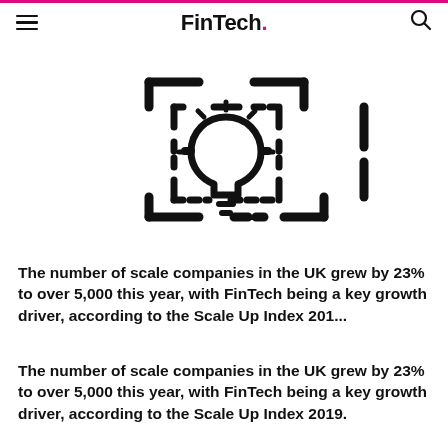FinTech.
[Figure (illustration): A lightbulb icon surrounded by a dashed scanning/recognition frame, suggesting innovation scanning or fintech identification concept. Dark icon on white background with a dark strip at top.]
The number of scale companies in the UK grew by 23% to over 5,000 this year, with FinTech being a key growth driver, according to the Scale Up Index 201...
The number of scale companies in the UK grew by 23% to over 5,000 this year, with FinTech being a key growth driver, according to the Scale Up Index 2019.